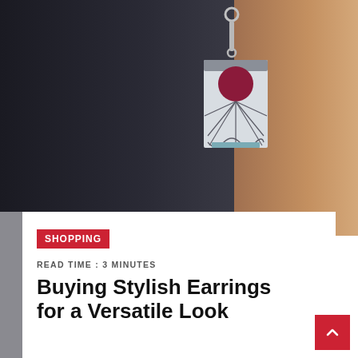[Figure (photo): Close-up photo of a person wearing a decorative earring. The earring has a rectangular pendant with a rising sun / art deco design featuring a dark red/maroon circle at top with radiating lines. The background shows dark hair on the left and skin/neck on the right.]
SHOPPING
READ TIME : 3 MINUTES
Buying Stylish Earrings for a Versatile Look